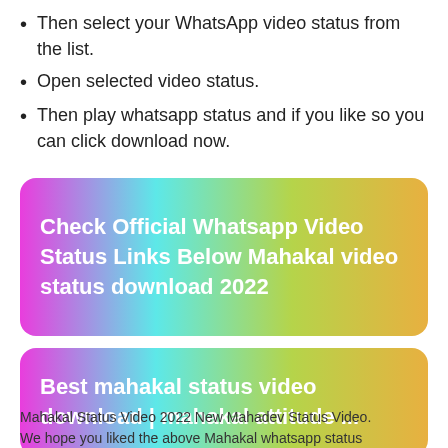Then select your WhatsApp video status from the list.
Open selected video status.
Then play whatsapp status and if you like so you can click download now.
[Figure (infographic): Colorful gradient banner button with white bold text: Check Official Whatsapp Video Status Links Below Mahakal video status download 2022]
[Figure (infographic): Colorful gradient banner button with white bold text: Best mahakal status video download | mahakal attitude ...]
Mahakal Status Video 2022 New Mahadev Status Video. We hope you liked the above Mahakal whatsapp status